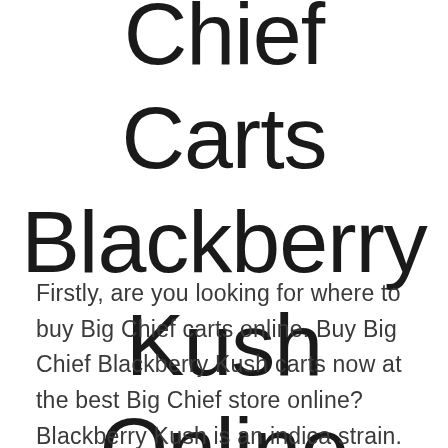Chief Carts Blackberry Kush Online
Firstly, are you looking for where to buy Big Chief carts online. Buy Big Chief Blackberry Kush carts now at the best Big Chief store online? Blackberry Kush is an indica strain. The strain is incredibly potent, especially considering its 20% THC content offering an amazing high. The buds are dense, covered by